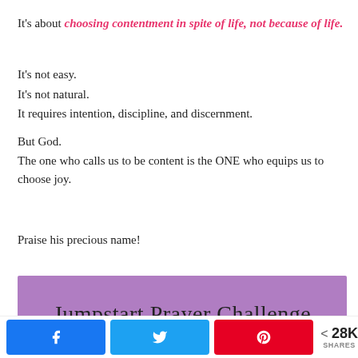It's about choosing contentment in spite of life, not because of life.
It's not easy.
It's not natural.
It requires intention, discipline, and discernment.
But God.
The one who calls us to be content is the ONE who equips us to choose joy.
Praise his precious name!
[Figure (illustration): Purple/lavender banner with text 'Jumpstart Prayer Challenge']
If you are seeking to add more joy in your days, start with prayer
Share buttons: Facebook, Twitter, Pinterest | 28K SHARES